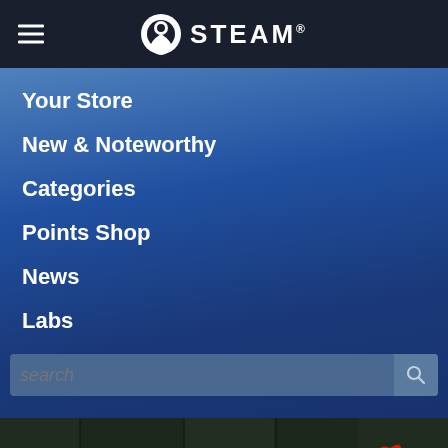[Figure (screenshot): Steam mobile app navigation menu with hamburger icon and Steam logo in dark navy header]
Your Store
New & Noteworthy
Categories
Points Shop
News
Labs
[Figure (screenshot): Search bar with placeholder text 'search' and magnifying glass icon]
[Figure (screenshot): Partial Magic: The Gathering game banner at bottom with white stylized 'MAGIC' text and a red devil/flame character logo on dark stone background]